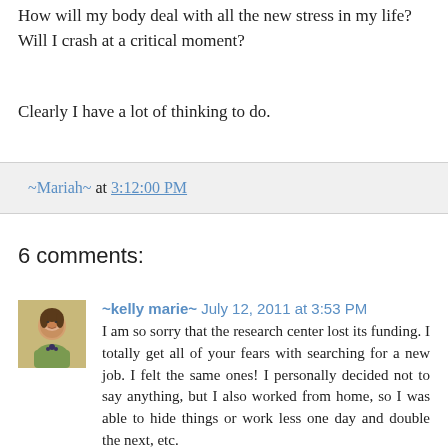How will my body deal with all the new stress in my life? Will I crash at a critical moment?
Clearly I have a lot of thinking to do.
~Mariah~ at 3:12:00 PM
6 comments:
~kelly marie~ July 12, 2011 at 3:53 PM
I am so sorry that the research center lost its funding. I totally get all of your fears with searching for a new job. I felt the same ones! I personally decided not to say anything, but I also worked from home, so I was able to hide things or work less one day and double the next, etc. To tell you the truth, one of the draws of now owning my own business is that I don't have to deal with anyone knowing about my autoimmune disease because I am the boss. I don't live in fear of people figuring it out or anything anymore, and even though I work 3 times more hours now